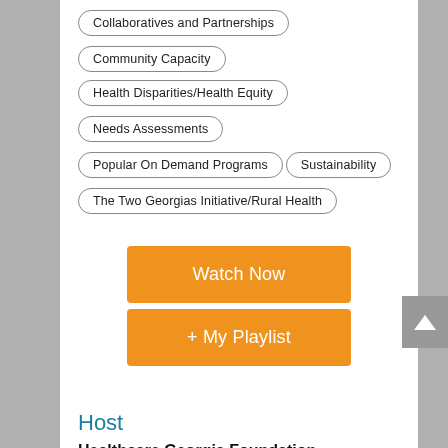Collaboratives and Partnerships
Community Capacity
Health Disparities/Health Equity
Needs Assessments
Popular On Demand Programs
Sustainability
The Two Georgias Initiative/Rural Health
Watch Now
+ My Playlist
Host
Healthcare Georgia Foundation
Program Description